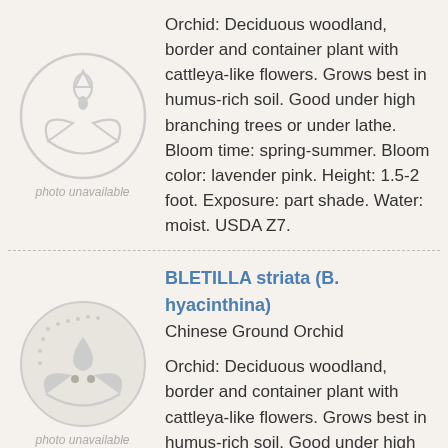[Figure (illustration): Photo unavailable placeholder icon — gray circle with stylized leaf/plant and water drop motif]
Orchid: Deciduous woodland, border and container plant with cattleya-like flowers. Grows best in humus-rich soil. Good under high branching trees or under lathe. Bloom time: spring-summer. Bloom color: lavender pink. Height: 1.5-2 foot. Exposure: part shade. Water: moist. USDA Z7.
[Figure (illustration): Photo unavailable placeholder icon — gray circle with stylized leaf/plant and water drop motif]
BLETILLA striata (B. hyacinthina)
Chinese Ground Orchid
Orchid: Deciduous woodland, border and container plant with cattleya-like flowers. Grows best in humus-rich soil. Good under high branching